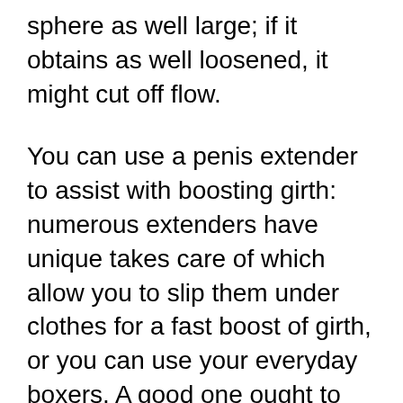sphere as well large; if it obtains as well loosened, it might cut off flow.
You can use a penis extender to assist with boosting girth: numerous extenders have unique takes care of which allow you to slip them under clothes for a fast boost of girth, or you can use your everyday boxers. A good one ought to have about 4 inches of girth to it, so await a bit of a work-out prior to attempting this technique! Several penis size enthusiasts claims Dr. David Dayton (a leading physician in the penis enhancement field) suggests making use of a penis extender of approximately six inches in size.
Next comes the penile sleeve, which is simply a piece of towel or comparable